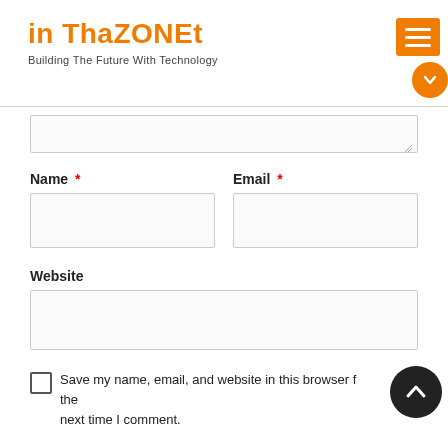in ThaZONEt — Building The Future With Technology
Name * (input field)
Email * (input field)
Website (input field)
Save my name, email, and website in this browser for the next time I comment.